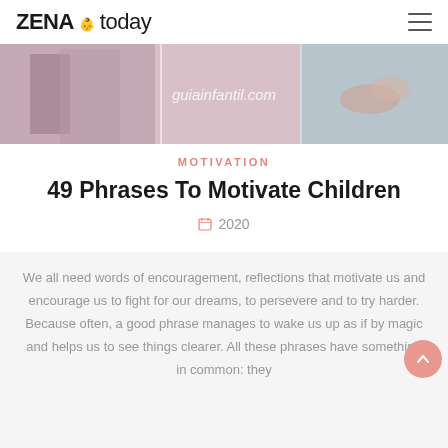ZENA today
[Figure (photo): Hero banner image showing two panels: a child or person on left, and hands on right, with watermark text 'guiainfantil.com' overlaid]
MOTIVATION
49 Phrases To Motivate Children
2020
We all need words of encouragement, reflections that motivate us and encourage us to fight for our dreams, to persevere and to try harder. Because often, a good phrase manages to wake us up as if by magic and helps us to see things clearer. All these phrases have something in common: they